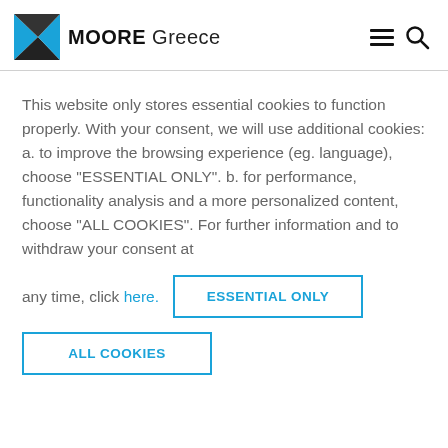MOORE Greece
This website only stores essential cookies to function properly. With your consent, we will use additional cookies: a. to improve the browsing experience (eg. language), choose “ESSENTIAL ONLY”. b. for performance, functionality analysis and a more personalized content, choose “ALL COOKIES”. For further information and to withdraw your consent at any time, click here.
ESSENTIAL ONLY
ALL COOKIES